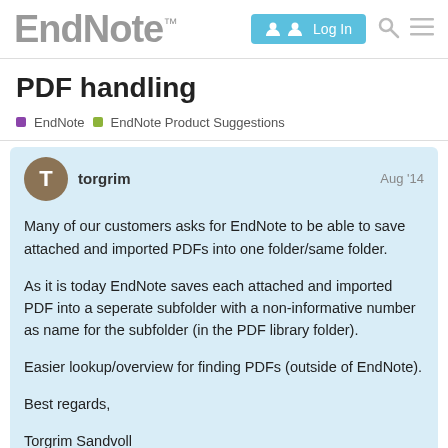EndNote™ | Log In
PDF handling
EndNote | EndNote Product Suggestions
torgrim  Aug '14

Many of our customers asks for EndNote to be able to save attached and imported PDFs into one folder/same folder.

As it is today EndNote saves each attached and imported PDF into a seperate subfolder with a non-informative number as name for the subfolder (in the PDF library folder).

Easier lookup/overview for finding PDFs (outside of EndNote).

Best regards,

Torgrim Sandvoll
1 / 4